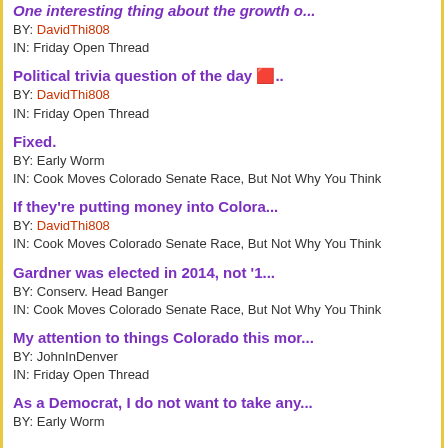One interesting thing about the growth o... BY: DavidThi808 IN: Friday Open Thread
Political trivia question of the day 🔲.. BY: DavidThi808 IN: Friday Open Thread
Fixed. BY: Early Worm IN: Cook Moves Colorado Senate Race, But Not Why You Think
If they're putting money into Colora... BY: DavidThi808 IN: Cook Moves Colorado Senate Race, But Not Why You Think
Gardner was elected in 2014, not '1... BY: Conserv. Head Banger IN: Cook Moves Colorado Senate Race, But Not Why You Think
My attention to things Colorado this mor... BY: JohnInDenver IN: Friday Open Thread
As a Democrat, I do not want to take any... BY: Early Worm